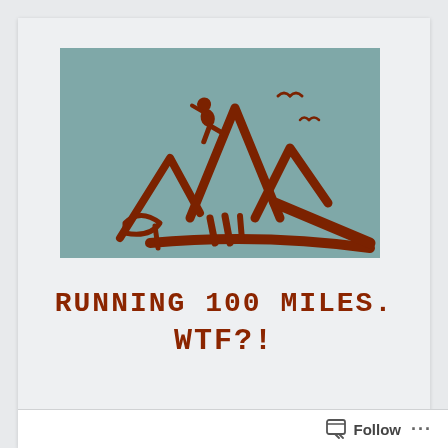[Figure (illustration): Hand-drawn style illustration of mountains with a runner figure at the top, birds in the sky, on a muted teal/slate blue background. Brown sketch lines depict mountain peaks, trees/rocks, and a person running.]
RUNNING 100 MILES.
WTF?!
Follow  ...